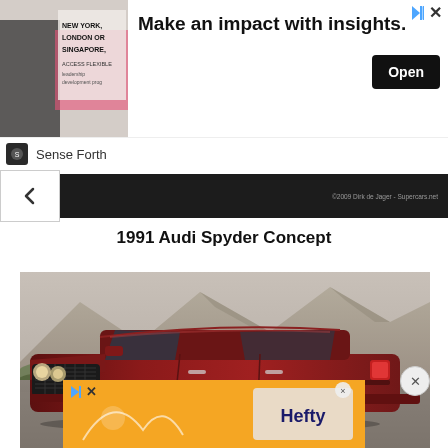[Figure (screenshot): Advertisement banner: New York, London or Singapore - Make an impact with insights. Open button. Sponsored by Sense Forth.]
[Figure (photo): Dark navigation bar with back arrow chevron and copyright text]
1991 Audi Spyder Concept
[Figure (photo): Dark red/maroon luxury car (appears to be a Bentley Continental R) photographed outdoors with rocky mountain terrain in the background.]
[Figure (screenshot): Hefty brand advertisement banner in orange at the bottom of the page with an X close button.]